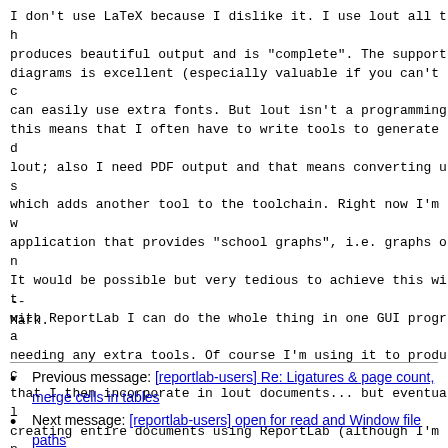I don't use LaTeX because I dislike it. I use lout all th produces beautiful output and is "complete". The support  diagrams is excellent (especially valuable if you can't c can easily use extra fonts. But lout isn't a programming  this means that I often have to write tools to generate d lout; also I need PDF output and that means converting us which adds another tool to the toolchain. Right now I'm w application that provides "school graphs", i.e. graphs on It would be possible but very tedious to achieve this wit with ReportLab I can do the whole thing in one GUI progra needing any extra tools. Of course I'm using it to produc that I then incorporate in lout documents... but eventual creating entire documents using ReportLab (although I'm n so without being able to have ligatures), since I'd rathe tool, especially one that I can use with Python.
--
Mark.
Previous message: [reportlab-users] Re: Ligatures & page count, merge cells in tables
Next message: [reportlab-users] open for read and Window file paths
Messages sorted by: [ date ] [ thread ] [ subject ] [ author ]